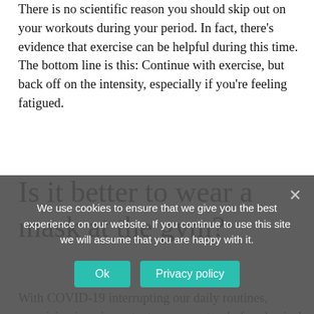There is no scientific reason you should skip out on your workouts during your period. In fact, there’s evidence that exercise can be helpful during this time. The bottom line is this: Continue with exercise, but back off on the intensity, especially if you’re feeling fatigued.
Is it better to wear a mask at the gym?
With COVID-19 interrupting our daily routines, exercising is as important as ever not only for physical health, but mental health too. Exercising is a sure way to make you breath harder and…
Can you wear a covid-19 mask in
We use cookies to ensure that we give you the best experience on our website. If you continue to use this site we will assume that you are happy with it.